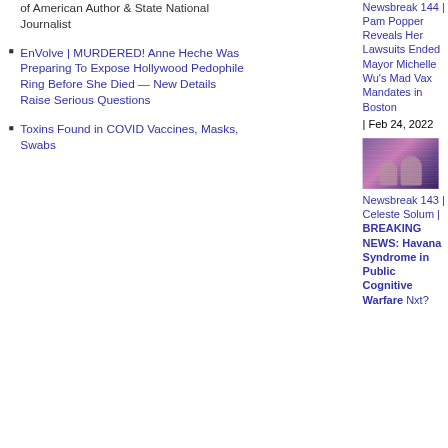of American Author & State National Journalist
EnVolve | MURDERED! Anne Heche Was Preparing To Expose Hollywood Pedophile Ring Before She Died — New Details Raise Serious Questions
Toxins Found in COVID Vaccines, Masks, Swabs
Newsbreak 144 | Pam Popper Reveals Her Lawsuits Ended Mayor Michelle Wu's Mad Vax Mandates in Boston| Feb 24, 2022
[Figure (photo): Thumbnail image with purple/pink background showing two people silhouettes, related to Newsbreak 143 Celeste Solum]
Newsbreak 143 | Celeste Solum | BREAKING NEWS: Havana Syndrome in Public Cognitive Warfare Nxt?